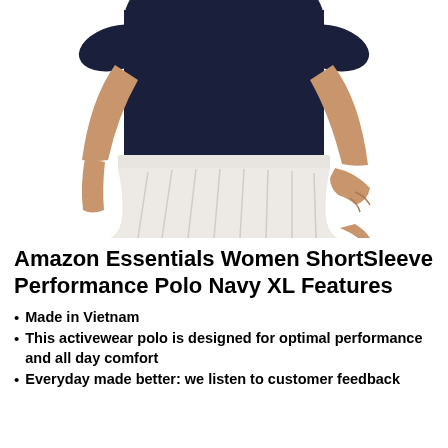[Figure (photo): A woman's torso wearing a navy short-sleeve polo shirt (Amazon Essentials) tucked into a white pleated tennis skirt. The background is white. Her face and head are cropped out. She is touching the skirt hem with her right hand.]
Amazon Essentials Women ShortSleeve Performance Polo Navy XL Features
Made in Vietnam
This activewear polo is designed for optimal performance and all day comfort
Everyday made better: we listen to customer feedback